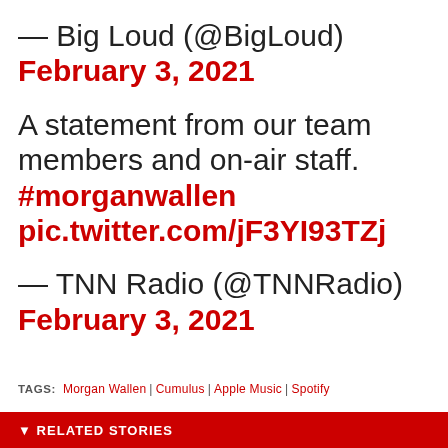— Big Loud (@BigLoud) February 3, 2021
A statement from our team members and on-air staff. #morganwallen pic.twitter.com/jF3YI93TZj
— TNN Radio (@TNNRadio) February 3, 2021
TAGS: Morgan Wallen | Cumulus | Apple Music | Spotify
RELATED STORIES